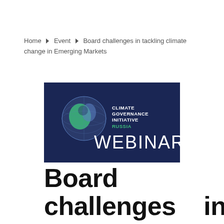Home › Event › Board challenges in tackling climate change in Emerging Markets
[Figure (illustration): Dark navy blue banner image for a Climate Governance Initiative Russia Webinar. Features a globe graphic on the left with the text 'CLIMATE GOVERNANCE INITIATIVE RUSSIA' in white and green, and 'WEBINAR' in large white letters on the right.]
Board challenges in tackling climate